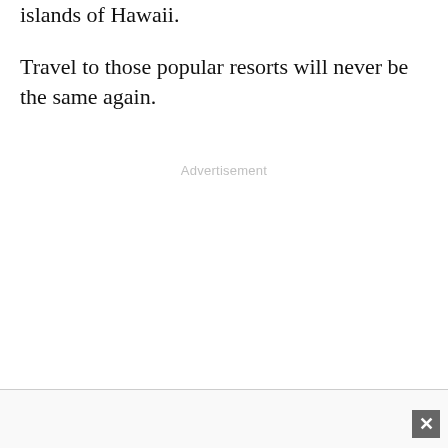islands of Hawaii.
Travel to those popular resorts will never be the same again.
Advertisement